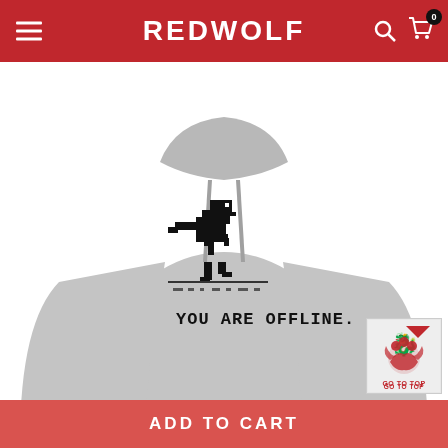REDWOLF
[Figure (photo): Grey hoodie sweatshirt with pixel-art dinosaur (Google Chrome offline T-Rex) and text 'YOU ARE OFFLINE.' printed on the front chest area]
OUT OF STOCK
[Figure (photo): Small thumbnail of the full hoodie front view]
[Figure (photo): Small thumbnail close-up of the dinosaur print on the hoodie]
[Figure (logo): Go to Top button with dragon logo (Game of Thrones style three-headed dragon) with text 'GO TO TOP']
ADD TO CART